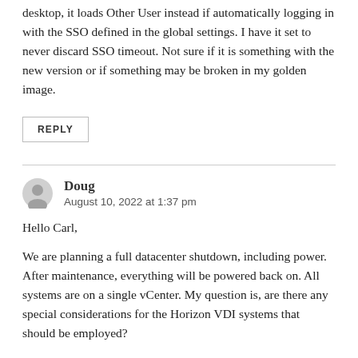desktop, it loads Other User instead if automatically logging in with the SSO defined in the global settings. I have it set to never discard SSO timeout. Not sure if it is something with the new version or if something may be broken in my golden image.
REPLY
Doug
August 10, 2022 at 1:37 pm
Hello Carl,
We are planning a full datacenter shutdown, including power. After maintenance, everything will be powered back on. All systems are on a single vCenter. My question is, are there any special considerations for the Horizon VDI systems that should be employed?